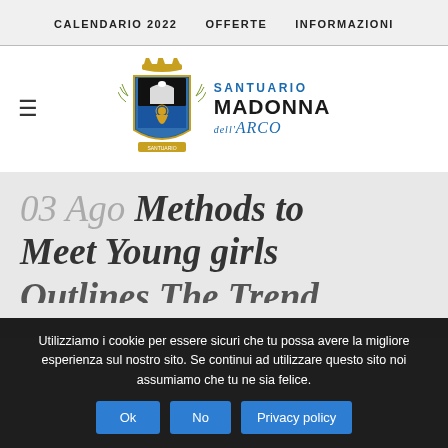CALENDARIO 2022   OFFERTE   INFORMAZIONI
[Figure (logo): Santuario Madonna dell'Arco logo with heraldic shield emblem and blue text]
03 Ago Methods to Meet Young girls
Utilizziamo i cookie per essere sicuri che tu possa avere la migliore esperienza sul nostro sito. Se continui ad utilizzare questo sito noi assumiamo che tu ne sia felice.
Ok   No   Privacy policy